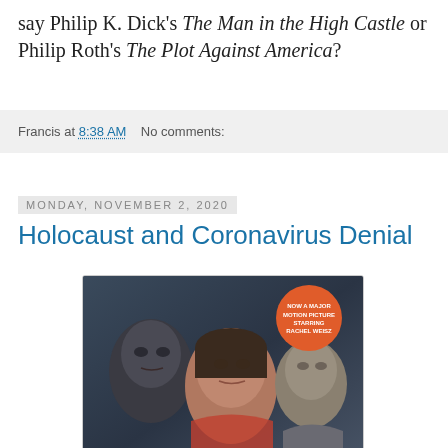say Philip K. Dick's The Man in the High Castle or Philip Roth's The Plot Against America?
Francis at 8:38 AM   No comments:
Monday, November 2, 2020
Holocaust and Coronavirus Denial
[Figure (photo): Book cover showing three people's faces in a dark dramatic composition. An orange circular badge in the top right reads 'NOW A MAJOR MOTION PICTURE STARRING RACHEL WEISZ'.]